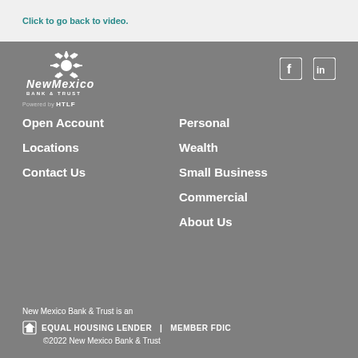Click to go back to video.
[Figure (logo): New Mexico Bank & Trust logo with star emblem, white text on gray background, Powered by HTLF]
[Figure (other): Facebook and LinkedIn social media icons]
Open Account
Locations
Contact Us
Personal
Wealth
Small Business
Commercial
About Us
New Mexico Bank & Trust is an
⊟ EQUAL HOUSING LENDER  |  MEMBER FDIC
©2022 New Mexico Bank & Trust